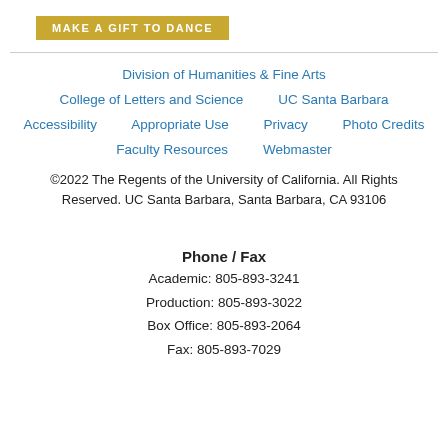[Figure (other): Gold/yellow button with white bold uppercase text 'MAKE A GIFT TO DANCE']
Division of Humanities & Fine Arts
College of Letters and Science    UC Santa Barbara
Accessibility    Appropriate Use    Privacy    Photo Credits
Faculty Resources    Webmaster
©2022 The Regents of the University of California. All Rights Reserved. UC Santa Barbara, Santa Barbara, CA 93106
Phone / Fax
Academic: 805-893-3241
Production: 805-893-3022
Box Office: 805-893-2064
Fax: 805-893-7029